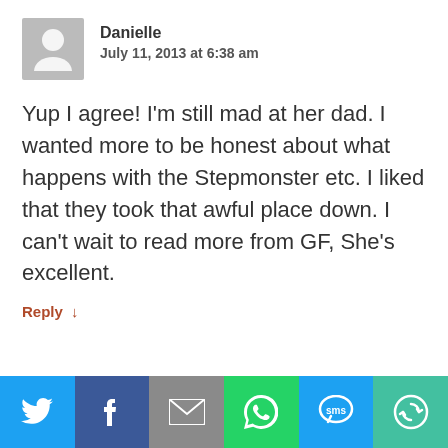[Figure (illustration): User avatar placeholder — grey rounded square with a white silhouette of a person]
Danielle
July 11, 2013 at 6:38 am
Yup I agree! I'm still mad at her dad. I wanted more to be honest about what happens with the Stepmonster etc. I liked that they took that awful place down. I can't wait to read more from GF, She's excellent.
Reply ↓
[Figure (infographic): Social share bar with six buttons: Twitter (blue), Facebook (dark blue), Email (grey), WhatsApp (green), SMS (blue), and a circular arrows share icon (teal)]